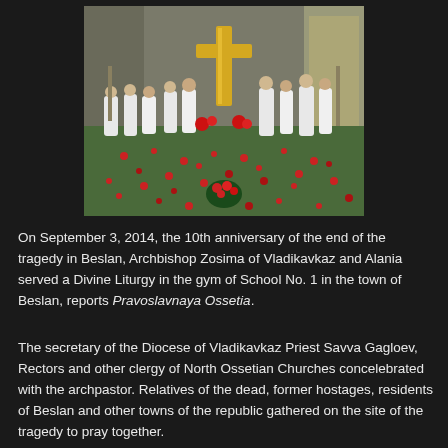[Figure (photo): Interior of a damaged gymnasium with people in white robes gathered around a large golden cross for a religious ceremony. The floor is covered with red flowers/roses scattered widely. Natural light comes through windows on the right. The walls are damaged/worn brick.]
On September 3, 2014, the 10th anniversary of the end of the tragedy in Beslan, Archbishop Zosima of Vladikavkaz and Alania served a Divine Liturgy in the gym of School No. 1 in the town of Beslan, reports Pravoslavnaya Ossetia.
The secretary of the Diocese of Vladikavkaz Priest Savva Gagloev, Rectors and other clergy of North Ossetian Churches concelebrated with the archpastor. Relatives of the dead, former hostages, residents of Beslan and other towns of the republic gathered on the site of the tragedy to pray together.